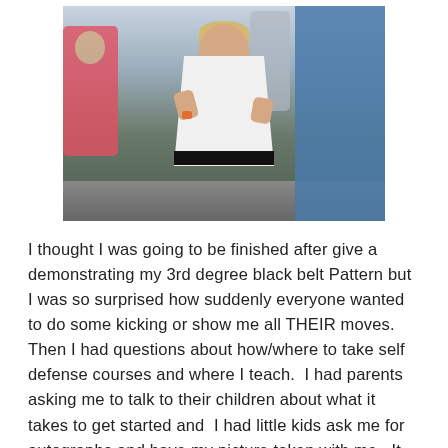[Figure (photo): A young woman in a white taekwondo gi and black belt with hands raised in a demonstration pose, photographed outdoors with people in the background and a blue decorated wall on the right.]
I thought I was going to be finished after give a demonstrating my 3rd degree black belt Pattern but I was so surprised how suddenly everyone wanted to do some kicking or show me all THEIR moves.  Then I had questions about how/where to take self defense courses and where I teach.  I had parents asking me to talk to their children about what it takes to get started and  I had little kids ask me for autographs and have my picture taken with me.  It was the cutest thing and I was also really